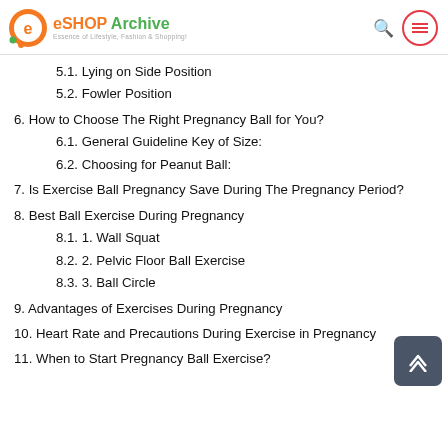eSHOP Archive — Essence of Lifestyle, Fashion & Shopping!
5.1. Lying on Side Position
5.2. Fowler Position
6. How to Choose The Right Pregnancy Ball for You?
6.1. General Guideline Key of Size:
6.2. Choosing for Peanut Ball:
7. Is Exercise Ball Pregnancy Save During The Pregnancy Period?
8. Best Ball Exercise During Pregnancy
8.1. 1. Wall Squat
8.2. 2. Pelvic Floor Ball Exercise
8.3. 3. Ball Circle
9. Advantages of Exercises During Pregnancy
10. Heart Rate and Precautions During Exercise in Pregnancy
11. When to Start Pregnancy Ball Exercise?